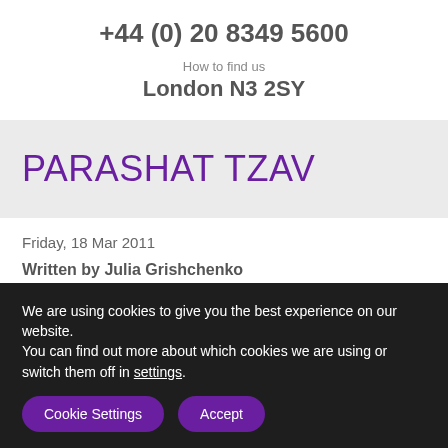+44 (0) 20 8349 5600
How to find us
London N3 2SY
PARASHAT TZAV
Friday, 18 Mar 2011
Written by Julia Grishchenko
We are using cookies to give you the best experience on our website.
You can find out more about which cookies we are using or switch them off in settings.